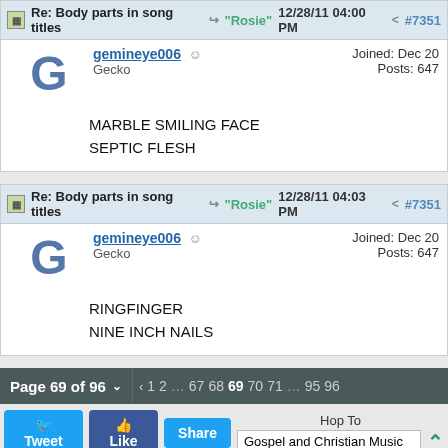Re: Body parts in song titles → "Rosie" 12/28/11 04:00 PM < #7351
gemineye006 ☺
Gecko
Joined: Dec 20
Posts: 647
MARBLE SMILING FACE
SEPTIC FLESH
Re: Body parts in song titles → "Rosie" 12/28/11 04:03 PM < #7351
gemineye006 ☺
Gecko
Joined: Dec 20
Posts: 647
RINGFINGER
NINE INCH NAILS
Page 69 of 96 ∨ ‹ 1 2 … 67 68 69 70 71 … 95 96
Tweet  Like  Share  Hop To  Gospel and Christian Music